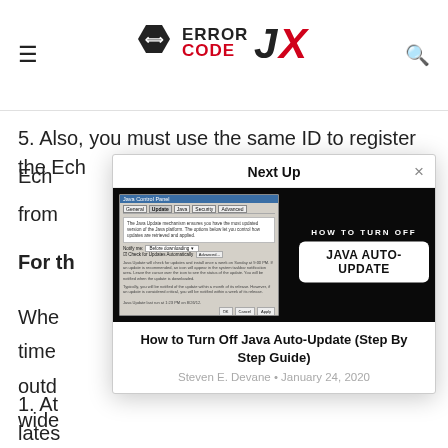Error Code JX — site header with hamburger menu and search icon
5. Also, you must use the same ID to register the Echo from
For th
Whe time outd wide succ
1. At lates
[Figure (screenshot): Next Up modal dialog showing 'How to Turn Off Java Auto-Update (Step By Step Guide)' article thumbnail with Java Control Panel screenshot and text overlay. Author: Steven E. Devane, January 24, 2020]